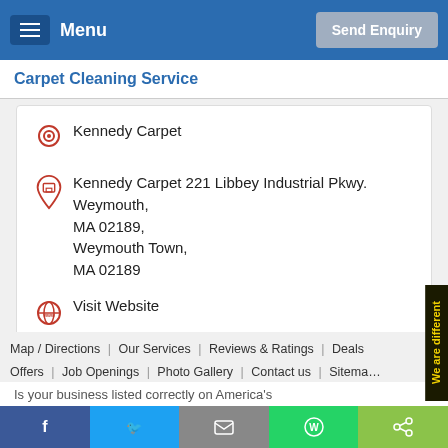Menu | Send Enquiry
Carpet Cleaning Service
Kennedy Carpet
Kennedy Carpet 221 Libbey Industrial Pkwy. Weymouth, MA 02189, Weymouth Town, MA 02189
Visit Website
View On Map
Map / Directions | Our Services | Reviews & Ratings | Deals Offers | Job Openings | Photo Gallery | Contact us | Sitemap
We are different
Is your business listed correctly on America's